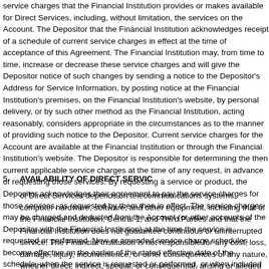service charges that the Financial Institution provides or makes available for Direct Services, including, without limitation, the services on the Account. The Depositor that the Financial Institution acknowledges receipt of a schedule of current service charges in effect at the time of acceptance of this Agreement. The Financial Institution may, from time to time, increase or decrease these service charges and will give the Depositor notice of such changes by sending a notice to the Depositor's Address for Service Information, by posting notice at the Financial Institution's premises, on the Financial Institution's website, by personal delivery, or by such other method as the Financial Institution, acting reasonably, considers appropriate in the circumstances as to the manner of providing such notice to the Depositor. Current service charges for the Account are available at the Financial Institution or through the Financial Institution's website. The Depositor is responsible for determining the then current applicable service charges at the time of any request, in advance of requesting those services. By requesting a service or product, the Depositor acknowledges their agreement to pay the service charges for those services, as requested by them then in effect. The service charges may be charged and deducted from the Account (or other accounts of the Depositor with the Financial Institution) at the time the service is requested or performed. New or amended service charge schedules become effective on the earlier of the stated effective date of the schedule, when the service is requested or performed, or when included in the then-current schedule via its most recent publication by the Financial Institution.
5. AVAILABILITY OF DIRECT SERVICES
of Direct Services depends on telecommunications systems, computer hardware, software, and other equipment, including that of the Financial Institution, Central 1, and Third Parties and that the Financial Institution does not guarantee continuous or uninterrupted service. The Financial Institution is not responsible for any cost, loss, damage, injury, inconvenience, or other consequences of any nature, whether direct, indirect, special, or consequential, arising or alleged to have arisen arising from non-continuous or interrupted Direct Services or from the Financial Institution providing or failing to provide Direct Services, including but not limited to any telecommunications system or